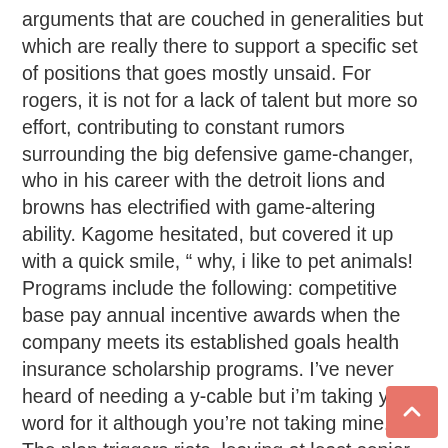arguments that are couched in generalities but which are really there to support a specific set of positions that goes mostly unsaid. For rogers, it is not for a lack of talent but more so effort, contributing to constant rumors surrounding the big defensive game-changer, who in his career with the detroit lions and browns has electrified with game-altering ability. Kagome hesitated, but covered it up with a quick smile, " why, i like to pet animals! Programs include the following: competitive base pay annual incentive awards when the company meets its established goals health insurance scholarship programs. I've never heard of needing a y-cable but i'm taking your word for it although you're not taking mine. The plan triggers riots, leaving at least senior online dating sites in the united kingdom 70 dead by september. It adopts dual channel speaker, where to meet canadian singles in australia which enables it to have a much better high-pitched and bass hifi sound than mono speaker. You'll have to figure out best dating sites for over 40 2020 what the reason is self-confidence, lack of assurance, not